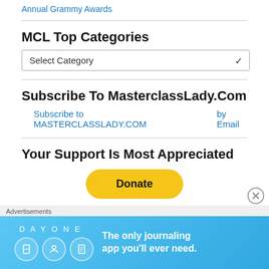Annual Grammy Awards
MCL Top Categories
Select Category
Subscribe To MasterclassLady.Com
Subscribe to MASTERCLASSLADY.COM    by Email
Your Support Is Most Appreciated
[Figure (other): PayPal Donate button (yellow rounded rectangle)]
Advertisements
[Figure (other): Day One journaling app advertisement banner: blue background with app icons and text 'The only journaling app you'll ever need.']